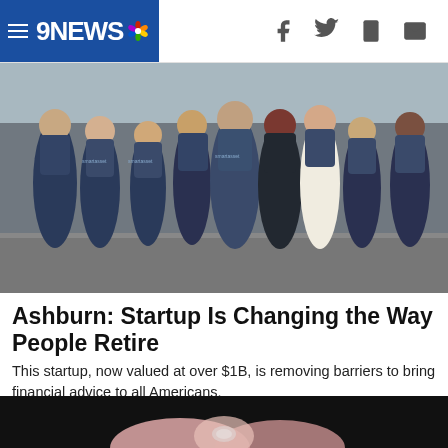9NEWS
[Figure (photo): Group of people wearing SmartAsset branded t-shirts standing together outdoors on a cobblestone street]
Ashburn: Startup Is Changing the Way People Retire
This startup, now valued at over $1B, is removing barriers to bring financial advice to all Americans.
SmartAsset | Sponsored
[Figure (photo): Close-up image partially visible at the bottom of the page, appears to show fingers/nails]